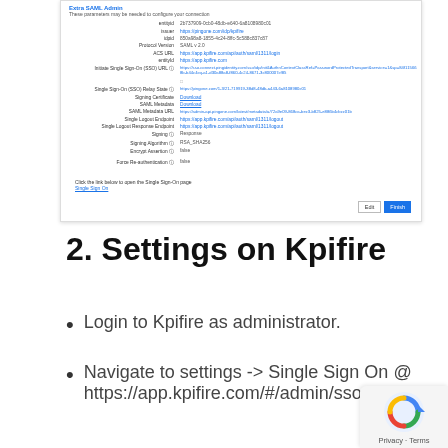[Figure (screenshot): Screenshot of SAML Admin configuration panel showing parameters including entityid, issuer, idpid, Protocol Version, ACS URL, entityId, Initiate Single Sign-On (SSO) URL, Single Sign-On (SSO) Relay State, Signing Certificate (Download), SAML Metadata (Download), SAML Metadata URL, Single Logout Endpoint, Single Logout Response Endpoint, Signing, Signing Algorithm, Encrypt Assertion, Force Re-authentication fields with values, and Edit/Finish buttons at bottom.]
2. Settings on Kpifire
Login to Kpifire as administrator.
Navigate to settings -> Single Sign On @ https://app.kpifire.com/#/admin/sso